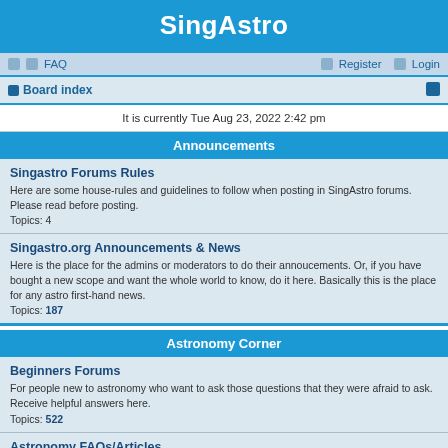SingAstro
FAQ  Register  Login
Board index
It is currently Tue Aug 23, 2022 2:42 pm
Announcements
Singastro Forums Rules
Here are some house-rules and guidelines to follow when posting in SingAstro forums. Please read before posting.
Topics: 4
Singastro.org Announcements & News
Here is the place for the admins or moderators to do their annoucements. Or, if you have bought a new scope and want the whole world to know, do it here. Basically this is the place for any astro first-hand news.
Topics: 187
Astronomy Corner
Beginners Forums
For people new to astronomy who want to ask those questions that they were afraid to ask. Receive helpful answers here.
Topics: 522
Astronomy FAQs/Articles
This is where you can read up the answers to some FAQs on astronomy and star-gazing in Singapore. Members' contributions are welcomed.